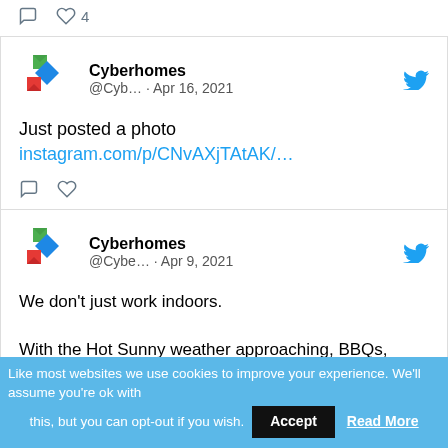[Figure (screenshot): Top partial tweet card showing comment and heart icons, with heart count of 4]
[Figure (screenshot): Cyberhomes tweet from Apr 16, 2021 saying 'Just posted a photo' with instagram link]
Just posted a photo
instagram.com/p/CNvAXjTAtAK/…
[Figure (screenshot): Cyberhomes tweet from Apr 9, 2021 about not working just indoors, BBQs, hot sunny weather]
We don't just work indoors.

With the Hot Sunny weather approaching, BBQs, Friends and a luxury outdoor bar with some chilled music.
Plus the icing on the cake for this
Like most websites we use cookies to improve your experience. We'll assume you're ok with this, but you can opt-out if you wish.